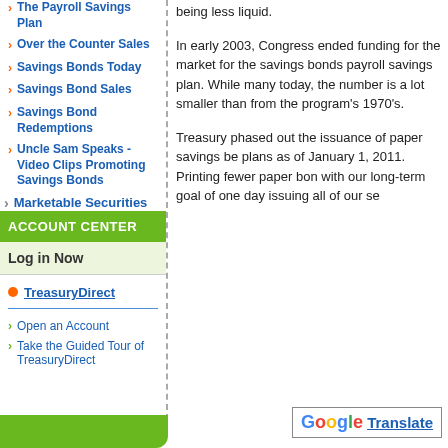The Payroll Savings Plan
Over the Counter Sales
Savings Bonds Today
Savings Bond Sales
Savings Bond Redemptions
Uncle Sam Speaks - Video Clips Promoting Savings Bonds
Marketable Securities
ACCOUNT CENTER
Log in Now
TreasuryDirect
Open an Account
Take the Guided Tour of TreasuryDirect
being less liquid.
In early 2003, Congress ended funding for the market for the savings bonds payroll savings plan. While many today, the number is a lot smaller than from the program's 1970's.
Treasury phased out the issuance of paper savings be plans as of January 1, 2011. Printing fewer paper bon with our long-term goal of one day issuing all of our se
[Figure (logo): Google Translate button with G logo and Translate text]